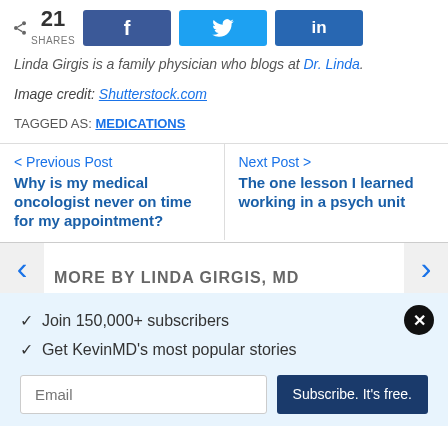21 SHARES | Facebook | Twitter | LinkedIn
Linda Girgis is a family physician who blogs at Dr. Linda.
Image credit: Shutterstock.com
TAGGED AS: MEDICATIONS
< Previous Post
Why is my medical oncologist never on time for my appointment?
Next Post >
The one lesson I learned working in a psych unit
MORE BY LINDA GIRGIS, MD
✓  Join 150,000+ subscribers
✓  Get KevinMD's most popular stories
Email  Subscribe. It's free.